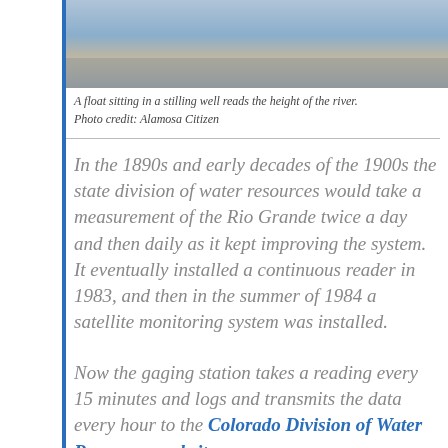[Figure (photo): A float sitting in a stilling well, close-up view of wooden planks and blue equipment used for river height measurement.]
A float sitting in a stilling well reads the height of the river. Photo credit: Alamosa Citizen
In the 1890s and early decades of the 1900s the state division of water resources would take a measurement of the Rio Grande twice a day and then daily as it kept improving the system. It eventually installed a continuous reader in 1983, and then in the summer of 1984 a satellite monitoring system was installed.
Now the gaging station takes a reading every 15 minutes and logs and transmits the data every hour to the Colorado Division of Water Resources website,